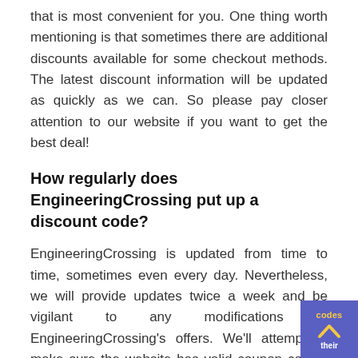that is most convenient for you. One thing worth mentioning is that sometimes there are additional discounts available for some checkout methods. The latest discount information will be updated as quickly as we can. So please pay closer attention to our website if you want to get the best deal!
How regularly does EngineeringCrossing put up a discount code?
EngineeringCrossing is updated from time to time, sometimes even every day. Nevertheless, we will provide updates twice a week and be vigilant to any modifications to EngineeringCrossing's offers. We'll attempt to make sure the website has valid coupon codes. To ensure that you realize the best offer comes first, we'll monitor the situation. Additionally, you can browse all the promo codes to make sure the items in your shopping cart meet their requirements. Utilizing the coupon that delivers the